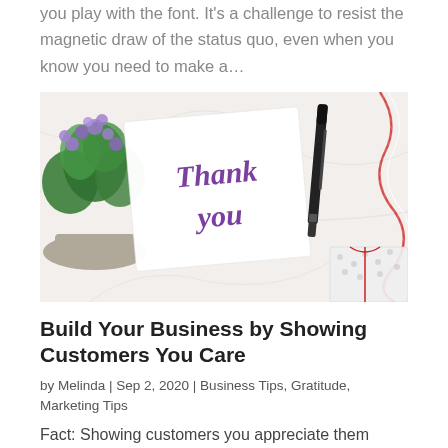you play with the font. It's a challenge to resist the magnetic draw of the status quo, even when you know you need to make a…
[Figure (photo): A white card with 'Thank you' written in purple cursive script, placed on a marble surface next to a purple flower plant, a black pen, red and white string, and a wrapped gift.]
Build Your Business by Showing Customers You Care
by Melinda | Sep 2, 2020 | Business Tips, Gratitude, Marketing Tips
Fact: Showing customers you appreciate them